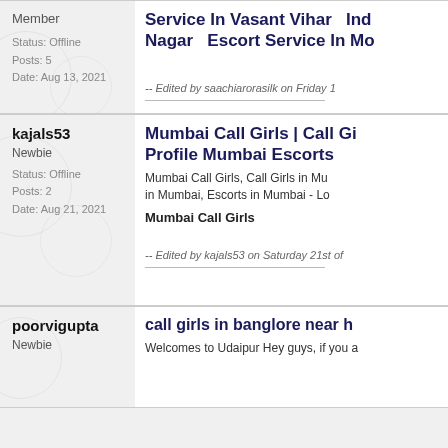Member
Status: Offline
Posts: 5
Date: Aug 13, 2021
Service In Vasant Vihar   Ind
Nagar   Escort Service In Mo
-- Edited by saachiarorasilk on Friday 1
kajals53
Newbie
Status: Offline
Posts: 2
Date: Aug 21, 2021
Mumbai Call Girls | Call Gi
Profile Mumbai Escorts
Mumbai Call Girls, Call Girls in Mu
in Mumbai, Escorts in Mumbai - Lo
Mumbai Call Girls
-- Edited by kajals53 on Saturday 21st of
poorvigupta
Newbie
call girls in banglore near h
Welcomes to Udaipur Hey guys, if you a